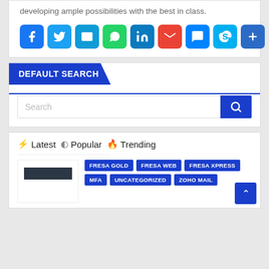developing ample possibilities with the best in class.
[Figure (infographic): Row of social sharing icon buttons: Facebook, Twitter, Email, WhatsApp, LinkedIn, Gmail, Messenger, Skype, More]
DEFAULT SEARCH
[Figure (screenshot): Search input field with search button]
Latest  Popular  Trending
[Figure (screenshot): Thumbnail image placeholder with dark bar]
FRESA GOLD
FRESA WEB
FRESA XPRESS
MFA
UNCATEGORIZED
ZOHO MAIL